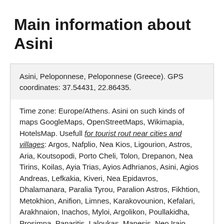Main information about Asini
Asini, Peloponnese, Peloponnese (Greece). GPS coordinates: 37.54431, 22.86435.
Time zone: Europe/Athens. Asini on such kinds of maps GoogleMaps, OpenStreetMaps, Wikimapia, HotelsMap. Usefull for tourist rout near cities and villages: Argos, Nafplio, Nea Kios, Ligourion, Astros, Aria, Koutsopodi, Porto Cheli, Tolon, Drepanon, Nea Tirins, Koilas, Ayia Trias, Ayios Adhrianos, Asini, Agios Andreas, Lefkakia, Kiveri, Nea Epidavros, Dhalamanara, Paralia Tyrou, Paralion Astros, Fikhtion, Metokhion, Anifion, Limnes, Karakovounion, Kefalari, Arakhnaion, Inachos, Myloi, Argolikon, Poullakidha, Prosimna, Panaritis, Laloukas, Manesis, Neo Iraio, Neon Roinon, Iria, Tirins, Skafidhaki, Dhimaina, Piryella, Ellinikon, Angelokastro, Ira, Midea, Mikinai, Piryiotika, Vivari, Adhami, Kourtaki, Monastirakion, Arkadiko, Kandia, Stathaiika, Kato Vervena, Agia Paraskevi, Paraea, Akova, Amigdhalitsa, Kokla